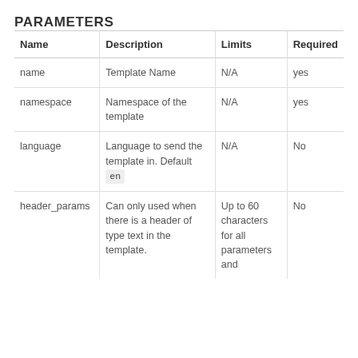PARAMETERS
| Name | Description | Limits | Required |
| --- | --- | --- | --- |
| name | Template Name | N/A | yes |
| namespace | Namespace of the template | N/A | yes |
| language | Language to send the template in. Default en | N/A | No |
| header_params | Can only used when there is a header of type text in the template. | Up to 60 characters for all parameters and | No |